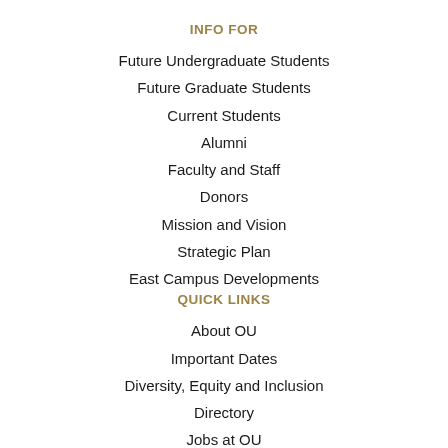INFO FOR
Future Undergraduate Students
Future Graduate Students
Current Students
Alumni
Faculty and Staff
Donors
Mission and Vision
Strategic Plan
East Campus Developments
QUICK LINKS
About OU
Important Dates
Diversity, Equity and Inclusion
Directory
Jobs at OU
University Offices